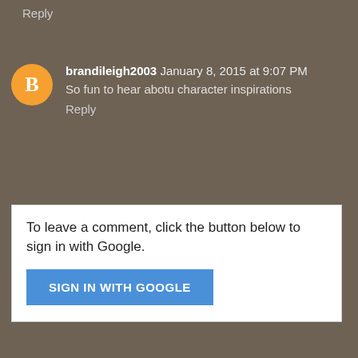Reply
brandileigh2003 January 8, 2015 at 9:07 PM
So fun to hear abotu character inspirations
Reply
To leave a comment, click the button below to sign in with Google.
SIGN IN WITH GOOGLE
Home
View web version
About Me
Unknown
View my complete profile